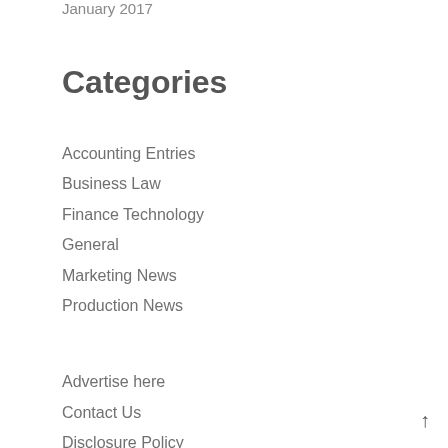January 2017
Categories
Accounting Entries
Business Law
Finance Technology
General
Marketing News
Production News
Advertise here
Contact Us
Disclosure Policy
Sitemap